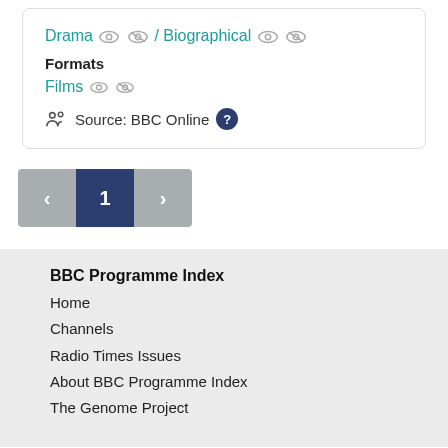Drama / Biographical
Formats
Films
Source: BBC Online
[Figure (other): Pagination controls with previous arrow, page 1 (active), and next arrow buttons]
BBC Programme Index
Home
Channels
Radio Times Issues
About BBC Programme Index
The Genome Project